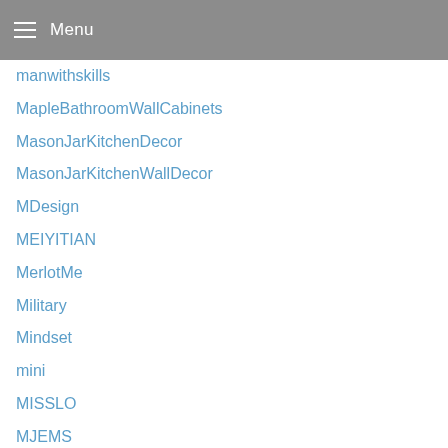Menu
manwithskills
MapleBathroomWallCabinets
MasonJarKitchenDecor
MasonJarKitchenWallDecor
MDesign
MEIYITIAN
MerlotMe
Military
Mindset
mini
MISSLO
MJEMS
Mkono
MOCOUM
ModernFarmhouse
ModPodgeCrafts
Modular